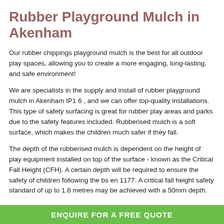Rubber Playground Mulch in Akenham
Our rubber chippings playground mulch is the best for all outdoor play spaces, allowing you to create a more engaging, long-lasting, and safe environment!
We are specialists in the supply and install of rubber playground mulch in Akenham IP1 6 , and we can offer top-quality installations. This type of safety surfacing is great for rubber play areas and parks due to the safety features included. Rubberised mulch is a soft surface, which makes the children much safer if they fall.
The depth of the rubberised mulch is dependent on the height of play equipment installed on top of the surface - known as the Critical Fall Height (CFH). A certain depth will be required to ensure the safety of children following the bs en 1177. A critical fall height safety standard of up to 1.6 metres may be achieved with a 50mm depth.
ENQUIRE FOR A FREE QUOTE